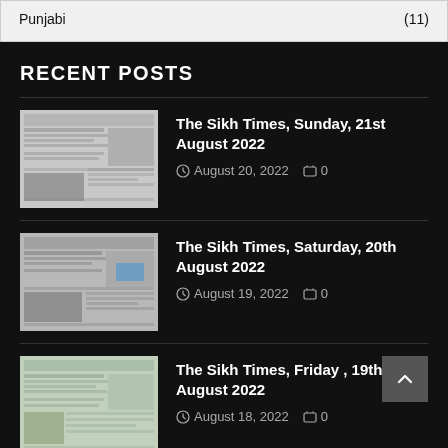| Punjabi | (11) |
| --- | --- |
RECENT POSTS
[Figure (photo): Thumbnail of The Sikh Times newspaper front page, Sunday 21st August 2022]
The Sikh Times, Sunday, 21st August 2022
August 20, 2022  0
[Figure (photo): Thumbnail of The Sikh Times newspaper front page, Saturday 20th August 2022]
The Sikh Times, Saturday, 20th August 2022
August 19, 2022  0
[Figure (photo): Thumbnail of The Sikh Times newspaper front page, Friday 19th August 2022]
The Sikh Times, Friday , 19th August 2022
August 18, 2022  0